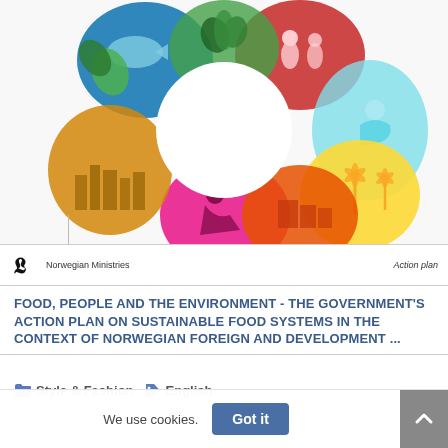[Figure (illustration): Cover of a Norwegian government document showing a colorful circular SDG wheel/mandala composed of icons representing sustainable development goals — fish, people, energy, water, agriculture, etc. — arranged around a central white circle. Below the wheel is a footer bar with a Norwegian Ministries logo and 'Action plan' text on the right.]
FOOD, PEOPLE AND THE ENVIRONMENT - THE GOVERNMENT'S ACTION PLAN ON SUSTAINABLE FOOD SYSTEMS IN THE CONTEXT OF NORWEGIAN FOREIGN AND DEVELOPMENT ...
Style & Fashion   English